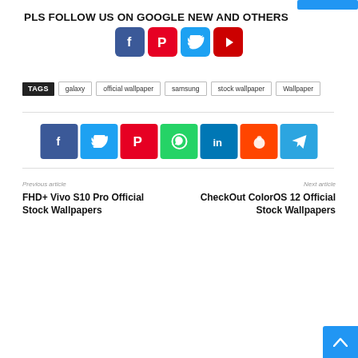PLS FOLLOW US ON GOOGLE NEW AND OTHERS
[Figure (illustration): Row of four social media icons: Facebook (blue), Pinterest (red), Twitter (cyan), YouTube (red)]
TAGS  galaxy  official wallpaper  samsung  stock wallpaper  Wallpaper
[Figure (illustration): Row of seven share buttons: Facebook (blue), Twitter (sky blue), Pinterest (red), WhatsApp (green), LinkedIn (dark blue), Reddit (orange), Telegram (blue)]
Previous article
FHD+ Vivo S10 Pro Official Stock Wallpapers
Next article
CheckOut ColorOS 12 Official Stock Wallpapers